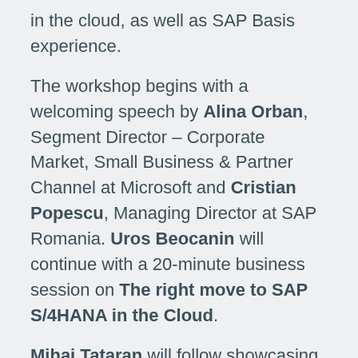in the cloud, as well as SAP Basis experience.
The workshop begins with a welcoming speech by Alina Orban, Segment Director – Corporate Market, Small Business & Partner Channel at Microsoft and Cristian Popescu, Managing Director at SAP Romania. Uros Beocanin will continue with a 20-minute business session on The right move to SAP S/4HANA in the Cloud.
Mihai Tataran will follow showcasing the common approach